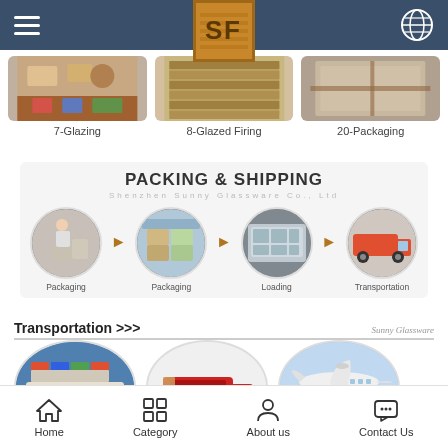[Figure (screenshot): Mobile app top navigation bar with hamburger menu, SF logo, and globe icon on dark blue background]
[Figure (photo): Three circular process images: 7-Glazing, 8-Glazed Firing, 20-Packaging]
7-Glazing
8-Glazed Firing
20-Packaging
PACKING & SHIPPING
Shenzhen Sunny Glassware Co., Ltd
[Figure (infographic): Four circular images showing packing and shipping steps: Packaging, Packaging, Loading, Transportation with arrows between them]
Packaging
Packaging
Loading
Transportation
Transportation >>>
Sunny Glassware
[Figure (photo): Three circular transport images: cargo ship, free shipping truck, airplane]
[Figure (infographic): Bottom navigation bar with Home, Category, About us, Contact Us icons]